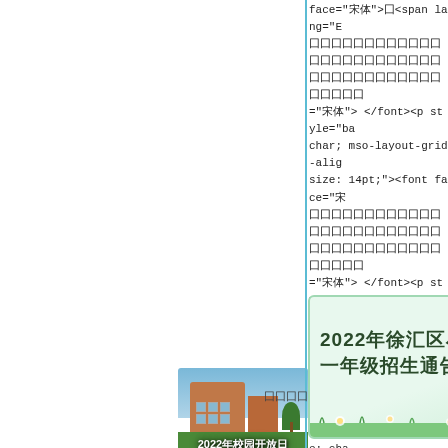face="宋体">囗<span lang="EN ...囗囗囗囗囗囗囗囗囗囗囗囗囗囗囗囗囗囗囗囗囗囗囗囗囗囗囗囗囗囗囗囗囗囗囗囗囗囗囗囗囗囗囗 ="宋体"> </font><p style="ba char; mso-layout-grid-alig size: 14pt;"><font face="宋 囗囗囗囗囗囗囗囗囗囗囗囗囗囗囗囗囗囗囗囗囗囗囗囗囗囗囗囗囗囗囗囗囗囗囗囗囗囗囗囗囗囗囗 ="宋体"> </font><p style="ba char; mso-layout-grid-alig size: 14pt;"><font face="宋 :sp te; ="p :-si </p><font size="3" face="' 0pt; layout-grid-mode: cha amily: 宋_GB2312; font-siz 宋体"囗囗囗囗囗囗囗囗囗囗囗囗囗囗囗囗囗<span le="background: white; ma ass="p0"><span style="co
[Figure (illustration): Decorative flyer with green theme: 2022年徐汇区小学一年级招生通告 (2022 Xuhui District Elementary School First Grade Enrollment Notice)]
[Figure (photo): School building photo with text overlay: 2022年校园开放日 (2022 Campus Open Day)]
囗囗囗
囗囗囗囗